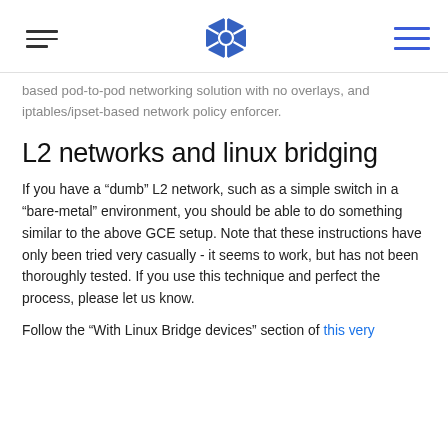[Kubernetes navigation header with hamburger menu, Kubernetes logo, and menu icon]
based pod-to-pod networking solution with no overlays, and iptables/ipset-based network policy enforcer.
L2 networks and linux bridging
If you have a “dumb” L2 network, such as a simple switch in a “bare-metal” environment, you should be able to do something similar to the above GCE setup. Note that these instructions have only been tried very casually - it seems to work, but has not been thoroughly tested. If you use this technique and perfect the process, please let us know.
Follow the “With Linux Bridge devices” section of this very